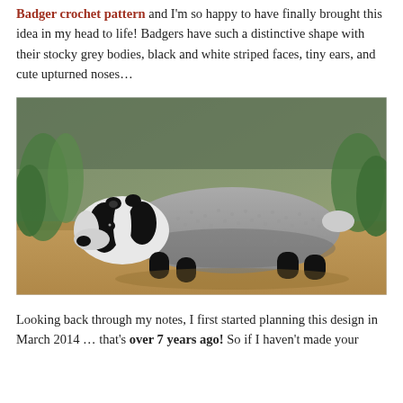Badger crochet pattern and I'm so happy to have finally brought this idea in my head to life! Badgers have such a distinctive shape with their stocky grey bodies, black and white striped faces, tiny ears, and cute upturned noses…
[Figure (photo): A crocheted amigurumi badger with grey body, black legs, and black-and-white striped face, standing on a sandy brown surface with green plants in the blurred background.]
Looking back through my notes, I first started planning this design in March 2014 … that's over 7 years ago! So if I haven't made your...